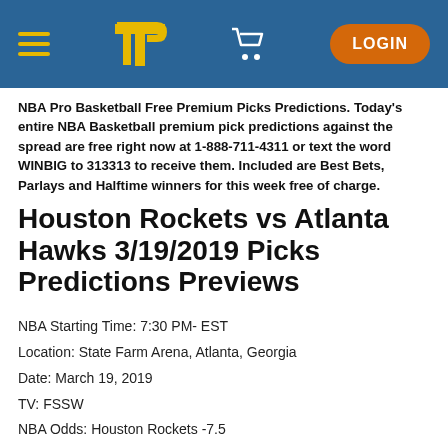TP [logo] LOGIN
NBA Pro Basketball Free Premium Picks Predictions. Today's entire NBA Basketball premium pick predictions against the spread are free right now at 1-888-711-4311 or text the word WINBIG to 313313 to receive them. Included are Best Bets, Parlays and Halftime winners for this week free of charge.
Houston Rockets vs Atlanta Hawks 3/19/2019 Picks Predictions Previews
NBA Starting Time: 7:30 PM- EST
Location: State Farm Arena, Atlanta, Georgia
Date: March 19, 2019
TV: FSSW
NBA Odds: Houston Rockets -7.5